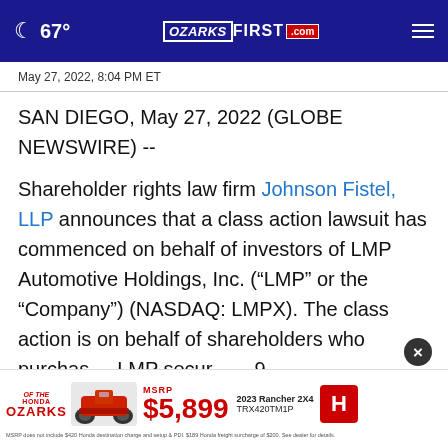67° OZARKSFIRST.com
May 27, 2022, 8:04 PM ET
SAN DIEGO, May 27, 2022 (GLOBE NEWSWIRE) --
Shareholder rights law firm Johnson Fistel, LLP announces that a class action lawsuit has commenced on behalf of investors of LMP Automotive Holdings, Inc. (“LMP” or the “Company”) (NASDAQ: LMPX). The class action is on behalf of shareholders who purchased LMP securities between [date] 9, 2022, both dates inclusive (the “Class Period”).
[Figure (infographic): Honda of the Ozarks advertisement banner: 2023 Rancher 2X4 TRX420TM1P MSRP $5,899 with Honda logo and ATV image and fine print disclaimer.]